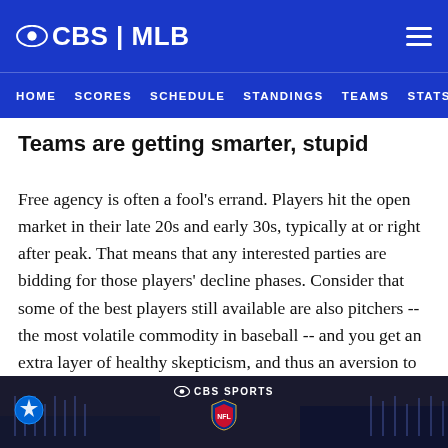CBS | MLB
HOME  SCORES  SCHEDULE  STANDINGS  TEAMS  STATS
Teams are getting smarter, stupid
Free agency is often a fool's errand. Players hit the open market in their late 20s and early 30s, typically at or right after peak. That means that any interested parties are bidding for those players' decline phases. Consider that some of the best players still available are also pitchers -- the most volatile commodity in baseball -- and you get an extra layer of healthy skepticism, and thus an aversion to breaking the bank.
[Figure (screenshot): CBS Sports / NFL advertisement banner at bottom of page with Paramount+ icon, CBS Sports logo, and NFL shield logo]